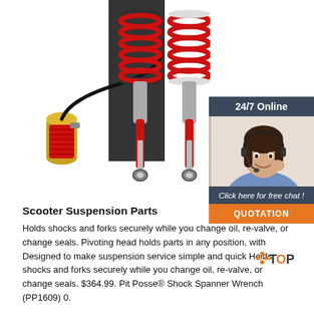[Figure (photo): Red coilover suspension shocks with remote reservoir, shown against white background]
[Figure (infographic): 24/7 Online chat widget with woman wearing headset, 'Click here for free chat!' text, and orange QUOTATION button]
Scooter Suspension Parts
Holds shocks and forks securely while you change oil, re-valve, or change seals. Pivoting head holds parts in any position, with Designed to make suspension service simple and quick Holds shocks and forks securely while you change oil, re-valve, or change seals. $364.99. Pit Posse® Shock Spanner Wrench (PP1609) 0.